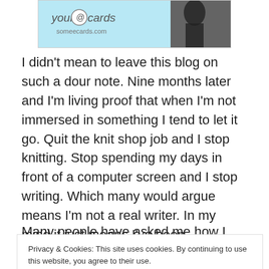[Figure (screenshot): your e-cards someecards.com advertisement banner with a black and white image on the right]
I didn't mean to leave this blog on such a dour note. Nine months later and I'm living proof that when I'm not immersed in something I tend to let it go. Quit the knit shop job and I stop knitting. Stop spending my days in front of a computer screen and I stop writing. Which many would argue means I'm not a real writer. In my mind it just means I've been exhausted.
Many people have asked me how I plan to spend my first
Privacy & Cookies: This site uses cookies. By continuing to use this website, you agree to their use.
To find out more, including how to control cookies, see here: Cookie Policy
Close and accept
Doing all the things I've had little time for since I started